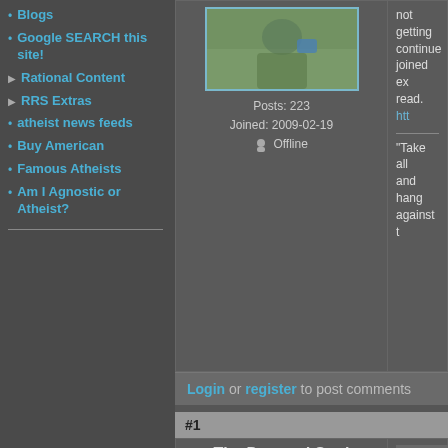Blogs
Google SEARCH this site!
Rational Content
RRS Extras
atheist news feeds
Buy American
Famous Atheists
Am I Agnostic or Atheist?
[Figure (photo): User avatar photo showing person in green shirt]
Posts: 223
Joined: 2009-02-19
Offline
not getting continue joined ex read. htt
"Take all and hang against t
Login or register to post comments
#1
The Doomed Soul
atheist
[Figure (illustration): Hello Kitty style character illustration]
marshal
marshal